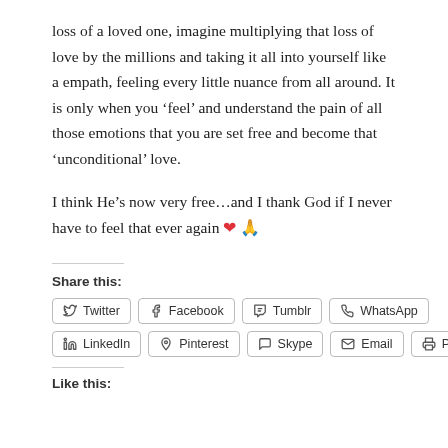loss of a loved one, imagine multiplying that loss of love by the millions and taking it all into yourself like a empath, feeling every little nuance from all around. It is only when you ‘feel’ and understand the pain of all those emotions that you are set free and become that ‘unconditional’ love.
I think He’s now very free…and I thank God if I never have to feel that ever again ❤ 🙏
Share this:
Twitter | Facebook | Tumblr | WhatsApp | LinkedIn | Pinterest | Skype | Email | Print
Like this: